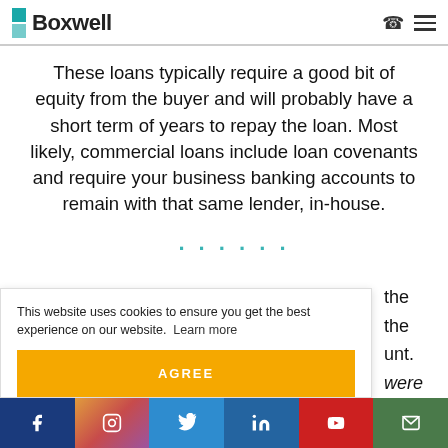Boxwell
These loans typically require a good bit of equity from the buyer and will probably have a short term of years to repay the loan. Most likely, commercial loans include loan covenants and require your business banking accounts to remain with that same lender, in-house.
LEASING
This website uses cookies to ensure you get the best experience on our website. Learn more
AGREE
Social links: Facebook, Instagram, Twitter, LinkedIn, YouTube, Email